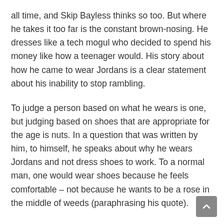all time, and Skip Bayless thinks so too. But where he takes it too far is the constant brown-nosing. He dresses like a tech mogul who decided to spend his money like how a teenager would. His story about how he came to wear Jordans is a clear statement about his inability to stop rambling.
To judge a person based on what he wears is one, but judging based on shoes that are appropriate for the age is nuts. In a question that was written by him, to himself, he speaks about why he wears Jordans and not dress shoes to work. To a normal man, one would wear shoes because he feels comfortable – not because he wants to be a rose in the middle of weeds (paraphrasing his quote).